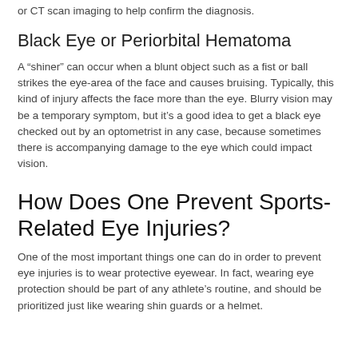or CT scan imaging to help confirm the diagnosis.
Black Eye or Periorbital Hematoma
A “shiner” can occur when a blunt object such as a fist or ball strikes the eye-area of the face and causes bruising. Typically, this kind of injury affects the face more than the eye. Blurry vision may be a temporary symptom, but it’s a good idea to get a black eye checked out by an optometrist in any case, because sometimes there is accompanying damage to the eye which could impact vision.
How Does One Prevent Sports-Related Eye Injuries?
One of the most important things one can do in order to prevent eye injuries is to wear protective eyewear. In fact, wearing eye protection should be part of any athlete’s routine, and should be prioritized just like wearing shin guards or a helmet.